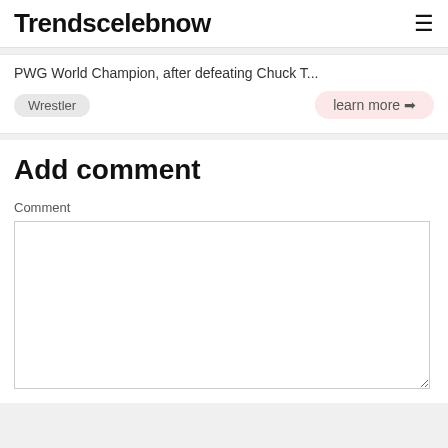Trendscelebnow
PWG World Champion, after defeating Chuck T...
Wrestler
learn more ❯
Add comment
Comment